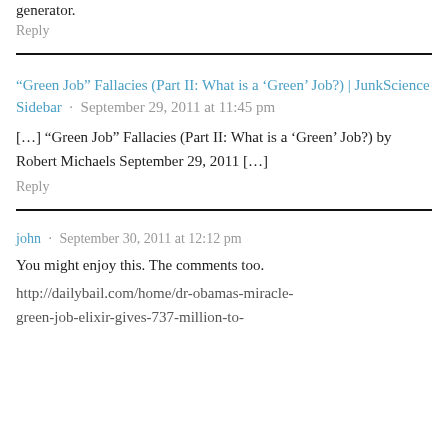generator.
Reply
“Green Job” Fallacies (Part II: What is a ‘Green’ Job?) | JunkScience Sidebar · September 29, 2011 at 11:45 pm
[…] “Green Job” Fallacies (Part II: What is a ‘Green’ Job?) by Robert Michaels September 29, 2011 […]
Reply
john · September 30, 2011 at 12:12 pm
You might enjoy this. The comments too.
http://dailybail.com/home/dr-obamas-miracle-green-job-elixir-gives-737-million-to-